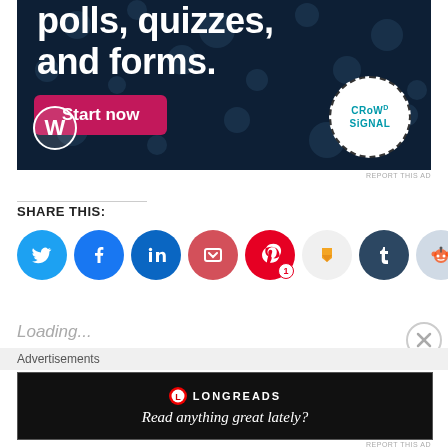[Figure (screenshot): Advertisement banner with dark navy background. Large white bold text reading 'polls, quizzes, and forms.' with a pink 'Start now' button. WordPress logo on bottom left and Crowdsignal circular logo on bottom right.]
REPORT THIS AD
SHARE THIS:
[Figure (screenshot): Row of social sharing icon buttons: Twitter (blue), Facebook (blue), LinkedIn (blue), Pocket (red), Pinterest (red with badge '1'), Mix (orange/white), Tumblr (dark blue), Reddit (light blue), Print (gray)]
Loading...
Advertisements
[Figure (screenshot): Longreads advertisement. Black background with white border. Longreads logo and text 'Read anything great lately?']